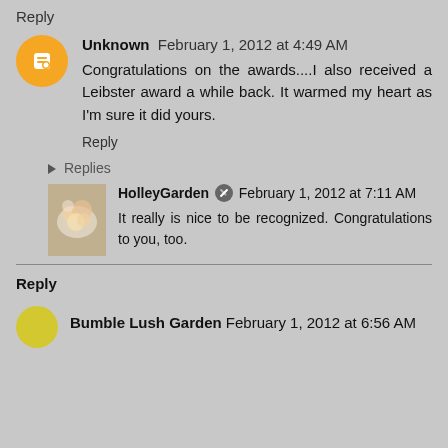Reply
Unknown  February 1, 2012 at 4:49 AM
Congratulations on the awards....I also received a Leibster award a while back. It warmed my heart as I'm sure it did yours.
Reply
Replies
HolleyGarden  February 1, 2012 at 7:11 AM
It really is nice to be recognized. Congratulations to you, too.
Reply
Bumble Lush Garden  February 1, 2012 at 6:56 AM